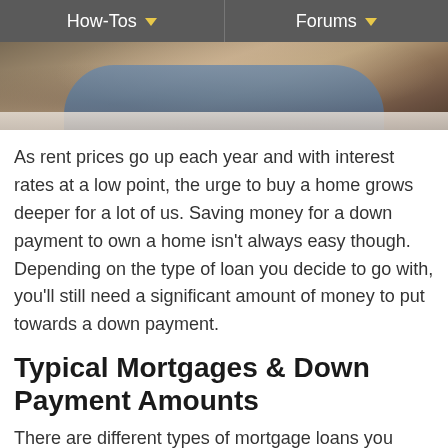How-Tos   Forums
[Figure (photo): Person sitting cross-legged on a rug, viewed from above, wearing jeans]
As rent prices go up each year and with interest rates at a low point, the urge to buy a home grows deeper for a lot of us. Saving money for a down payment to own a home isn't always easy though. Depending on the type of loan you decide to go with, you'll still need a significant amount of money to put towards a down payment.
Typical Mortgages & Down Payment Amounts
There are different types of mortgage loans you